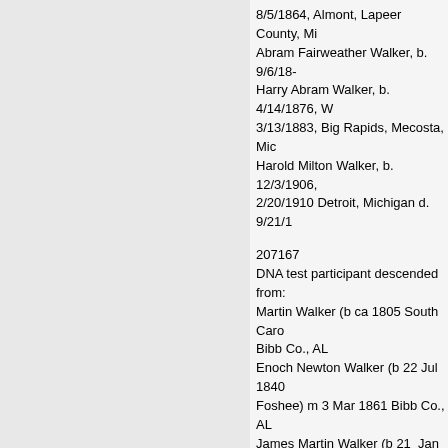8/5/1864, Almont, Lapeer County, Mi Abram Fairweather Walker, b. 9/6/18- Harry Abram Walker, b. 4/14/1876, W 3/13/1883, Big Rapids, Mecosta, Mic Harold Milton Walker, b. 12/3/1906, 2/20/1910 Detroit, Michigan d. 9/21/1
207167 DNA test participant descended from: Martin Walker (b ca 1805 South Caro Bibb Co., AL Enoch Newton Walker (b 22 Jul 1840 Foshee) m 3 Mar 1861 Bibb Co., AL James Martin Walker (b 21  Jan 1862 Chambers and Mary Ann "Polly" Dos John William Calhoun Walker (b. 19 H. Green and Parrie Lee Ozley) m 8 A
318547 Descended from: Adam Walker (b. ca 1765 County Tyr Samuel Walker (b. 1805 Indiana Co., Thomas R Walker (b. 1847 Meigs Co Leslie E Walker (b. 1871 Vernon Co.,
GROUP-24